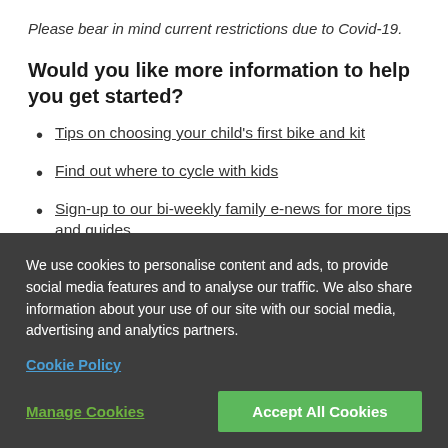Please bear in mind current restrictions due to Covid-19.
Would you like more information to help you get started?
Tips on choosing your child's first bike and kit
Find out where to cycle with kids
Sign-up to our bi-weekly family e-news for more tips and guides.
We use cookies to personalise content and ads, to provide social media features and to analyse our traffic. We also share information about your use of our site with our social media, advertising and analytics partners.
Cookie Policy
Manage Cookies
Accept All Cookies